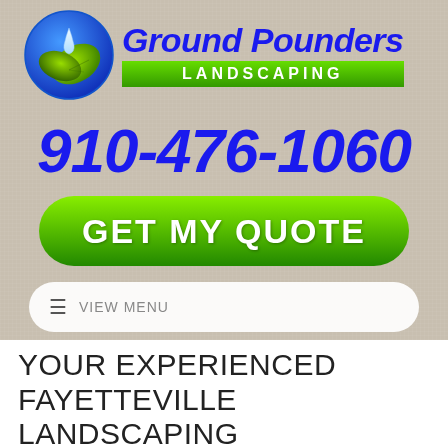[Figure (logo): Ground Pounders Landscaping logo with circular blue/green leaf and water drop icon, company name in bold blue italic text, LANDSCAPING in white on green banner]
910-476-1060
GET MY QUOTE
≡  VIEW MENU
YOUR EXPERIENCED FAYETTEVILLE LANDSCAPING